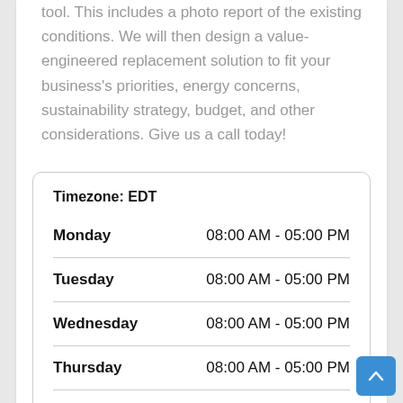tool. This includes a photo report of the existing conditions. We will then design a value-engineered replacement solution to fit your business's priorities, energy concerns, sustainability strategy, budget, and other considerations. Give us a call today!
| Day | Hours |
| --- | --- |
| Monday | 08:00 AM - 05:00 PM |
| Tuesday | 08:00 AM - 05:00 PM |
| Wednesday | 08:00 AM - 05:00 PM |
| Thursday | 08:00 AM - 05:00 PM |
| Friday | 08:00 AM - 05:00 PM |
| Saturday | 08:00 AM - 02:00 PM |